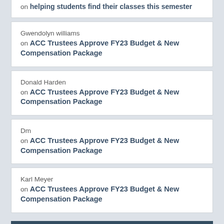on helping students find their classes this semester
Gwendolyn williams on ACC Trustees Approve FY23 Budget & New Compensation Package
Donald Harden on ACC Trustees Approve FY23 Budget & New Compensation Package
Dm on ACC Trustees Approve FY23 Budget & New Compensation Package
Karl Meyer on ACC Trustees Approve FY23 Budget & New Compensation Package
NEED HELP?